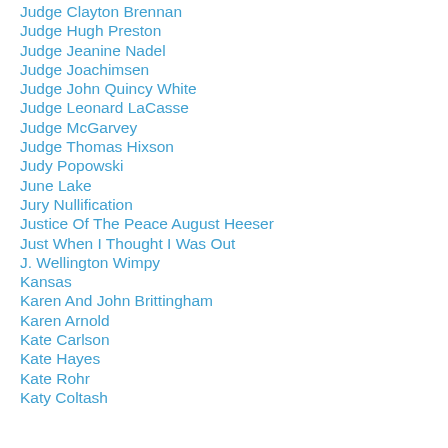Judge Clayton Brennan
Judge Hugh Preston
Judge Jeanine Nadel
Judge Joachimsen
Judge John Quincy White
Judge Leonard LaCasse
Judge McGarvey
Judge Thomas Hixson
Judy Popowski
June Lake
Jury Nullification
Justice Of The Peace August Heeser
Just When I Thought I Was Out
J. Wellington Wimpy
Kansas
Karen And John Brittingham
Karen Arnold
Kate Carlson
Kate Hayes
Kate Rohr
Katy Coltash